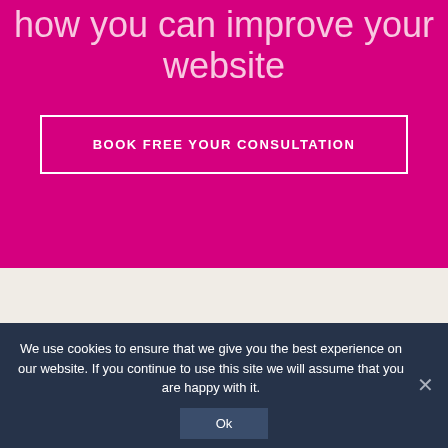how you can improve your website
BOOK FREE YOUR CONSULTATION
We use cookies to ensure that we give you the best experience on our website. If you continue to use this site we will assume that you are happy with it.
Ok